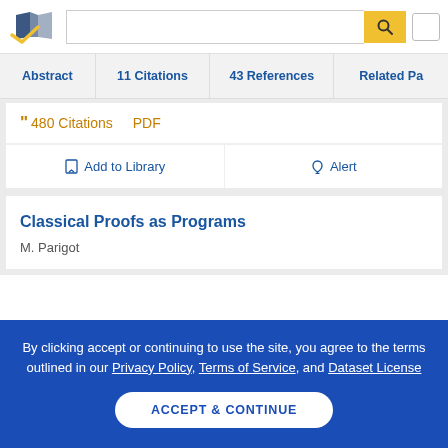Semantic Scholar header with logo, search bar, and menu
Abstract | 11 Citations | 43 References | Related Pa...
480 Citations  PDF
Add to Library  Alert
Classical Proofs as Programs
M. Parigot
By clicking accept or continuing to use the site, you agree to the terms outlined in our Privacy Policy, Terms of Service, and Dataset License
ACCEPT & CONTINUE